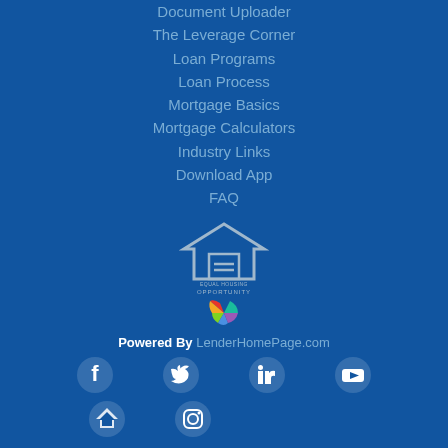Document Uploader
The Leverage Corner
Loan Programs
Loan Process
Mortgage Basics
Mortgage Calculators
Industry Links
Download App
FAQ
[Figure (logo): Equal Housing Opportunity logo with house icon and text EQUAL HOUSING OPPORTUNITY]
[Figure (logo): LenderHomePage colorful logo mark]
Powered By LenderHomePage.com
[Figure (other): Social media icons: Facebook, Twitter, LinkedIn, YouTube, Zillow, Instagram]